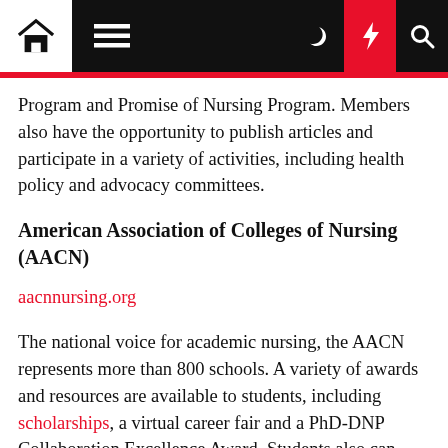Navigation bar with home, menu, moon, lightning, and search icons
Program and Promise of Nursing Program. Members also have the opportunity to publish articles and participate in a variety of activities, including health policy and advocacy committees.
American Association of Colleges of Nursing (AACN)
aacnnursing.org
The national voice for academic nursing, the AACN represents more than 800 schools. A variety of awards and resources are available to students, including scholarships, a virtual career fair and a PhD-DNP Collaboration Excellence Award. Students also can apply to multiple nursing schools with one application. Other awards include member and faculty nominated awards and board nominated